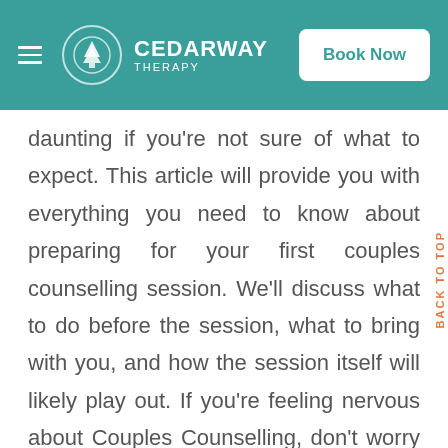CEDARWAY THERAPY — Book Now
daunting if you're not sure of what to expect. This article will provide you with everything you need to know about preparing for your first couples counselling session. We'll discuss what to do before the session, what to bring with you, and how the session itself will likely play out. If you're feeling nervous about Couples Counselling, don't worry – we'll help put your mind at ease! Having said that, let's get started!